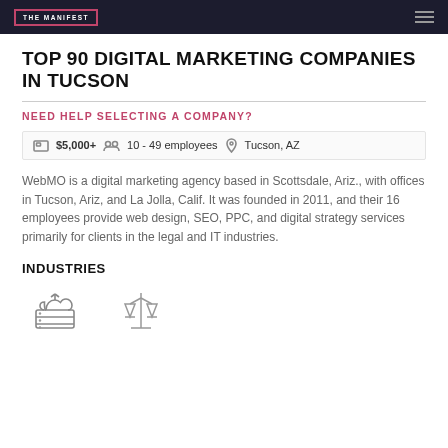THE MANIFEST
TOP 90 DIGITAL MARKETING COMPANIES IN TUCSON
NEED HELP SELECTING A COMPANY?
$5,000+   10 - 49 employees   Tucson, AZ
WebMO is a digital marketing agency based in Scottsdale, Ariz., with offices in Tucson, Ariz, and La Jolla, Calif. It was founded in 2011, and their 16 employees provide web design, SEO, PPC, and digital strategy services primarily for clients in the legal and IT industries.
INDUSTRIES
[Figure (illustration): Two industry icons: a cloud/server icon and a scales of justice icon]